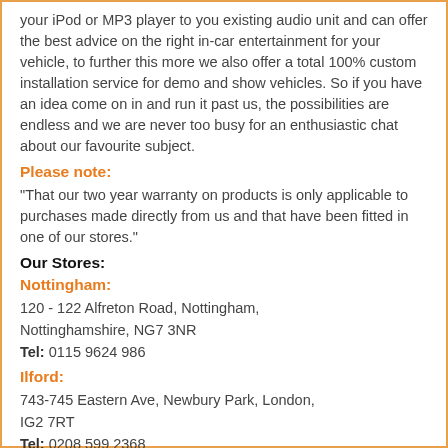your iPod or MP3 player to you existing audio unit and can offer the best advice on the right in-car entertainment for your vehicle, to further this more we also offer a total 100% custom installation service for demo and show vehicles. So if you have an idea come on in and run it past us, the possibilities are endless and we are never too busy for an enthusiastic chat about our favourite subject.
Please note:
"That our two year warranty on products is only applicable to purchases made directly from us and that have been fitted in one of our stores."
Our Stores:
Nottingham:
120 - 122 Alfreton Road, Nottingham, Nottinghamshire, NG7 3NR
Tel: 0115 9624 986
Ilford:
743-745 Eastern Ave, Newbury Park, London, IG2 7RT
Tel: 0208 599 2368
Tooting:
835 Garratt Lane, Tooting, London, SW17 0PG
Tel: 0208 971 9181